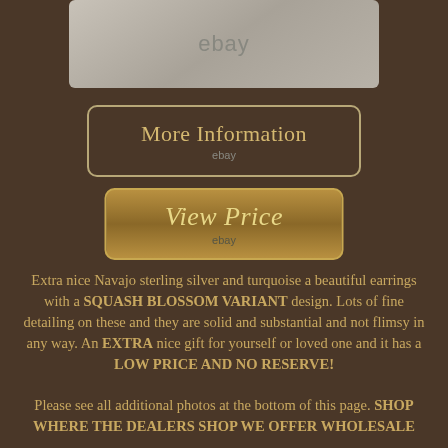[Figure (photo): eBay product image placeholder showing silver/gray rectangle with 'ebay' watermark text]
More Information
ebay
View Price
ebay
Extra nice Navajo sterling silver and turquoise a beautiful earrings with a SQUASH BLOSSOM VARIANT design. Lots of fine detailing on these and they are solid and substantial and not flimsy in any way. An EXTRA nice gift for yourself or loved one and it has a LOW PRICE AND NO RESERVE!
Please see all additional photos at the bottom of this page. SHOP WHERE THE DEALERS SHOP WE OFFER WHOLESALE